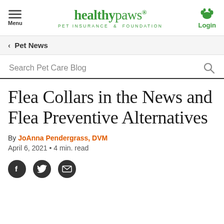healthy paws PET INSURANCE & FOUNDATION | Menu | Login
Pet News
Search Pet Care Blog
Flea Collars in the News and Flea Preventive Alternatives
By JoAnna Pendergrass, DVM
April 6, 2021 • 4 min. read
[Figure (other): Social sharing icons: Facebook, Twitter, Email]